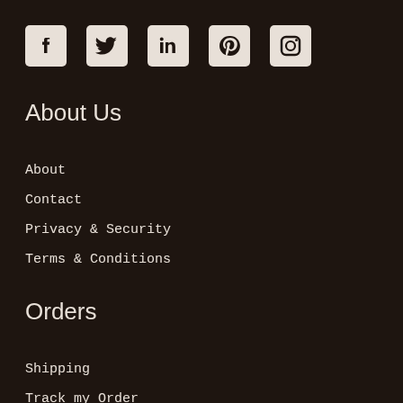[Figure (illustration): Row of five social media icons: Facebook, Twitter, LinkedIn, Pinterest, Instagram — white icons on dark background]
About Us
About
Contact
Privacy & Security
Terms & Conditions
Orders
Shipping
Track my Order